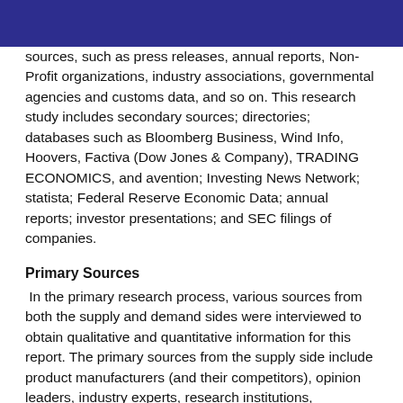sources, such as press releases, annual reports, Non-Profit organizations, industry associations, governmental agencies and customs data, and so on. This research study includes secondary sources; directories; databases such as Bloomberg Business, Wind Info, Hoovers, Factiva (Dow Jones & Company), TRADING ECONOMICS, and avention; Investing News Network; statista; Federal Reserve Economic Data; annual reports; investor presentations; and SEC filings of companies.
Primary Sources
In the primary research process, various sources from both the supply and demand sides were interviewed to obtain qualitative and quantitative information for this report. The primary sources from the supply side include product manufacturers (and their competitors), opinion leaders, industry experts, research institutions, distributors, dealer and traders, as well as the raw